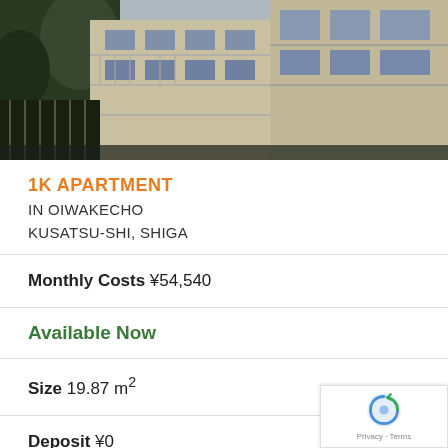[Figure (photo): Exterior photo of a Japanese apartment building with balconies, trees in foreground, beige/tan building facade visible]
1K APARTMENT IN OIWAKECHO KUSATSU-SHI, SHIGA
Monthly Costs ¥54,540
Available Now
Size 19.87 m²
Deposit ¥0
Key Money ¥47,000
Floor 1 / 3F